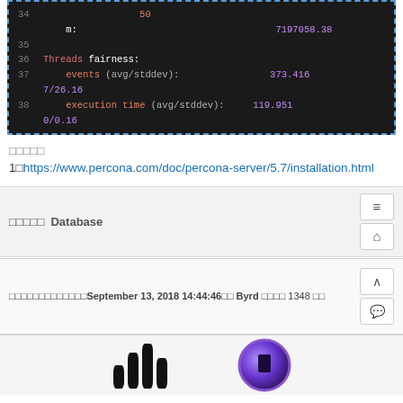[Figure (screenshot): Dark-themed code block showing lines 34-38 of a benchmark output. Line 34 truncated, line 35 empty, line 36 'Threads fairness:', line 37 'events (avg/stddev): 373.416 7/26.16', line 38 'execution time (avg/stddev): 119.951 0/0.16']
□□□□□
1□https://www.percona.com/doc/percona-server/5.7/installation.html
□□□□□ Database
□□□□□□□□□□□□□September 13, 2018 14:44:46□□ Byrd □□□□ 1348 □□